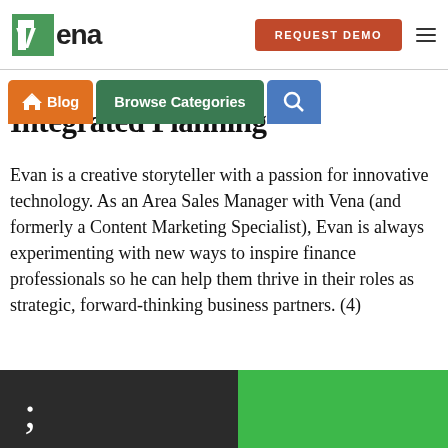Vena | REQUEST DEMO
Integrated Planning
Evan is a creative storyteller with a passion for innovative technology. As an Area Sales Manager with Vena (and formerly a Content Marketing Specialist), Evan is always experimenting with new ways to inspire finance professionals so he can help them thrive in their roles as strategic, forward-thinking business partners. (4)
[Figure (photo): Bottom portion of page showing a dark background with a semicolon character and a green rectangle, suggesting a keyboard/tech image]